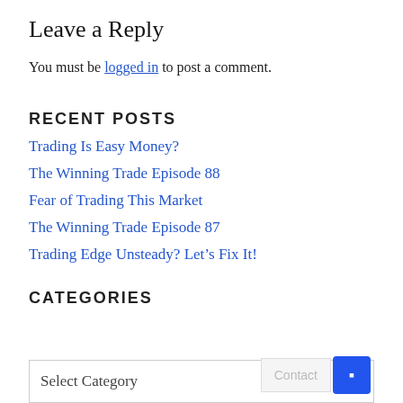Leave a Reply
You must be logged in to post a comment.
RECENT POSTS
Trading Is Easy Money?
The Winning Trade Episode 88
Fear of Trading This Market
The Winning Trade Episode 87
Trading Edge Unsteady? Let's Fix It!
CATEGORIES
Select Category